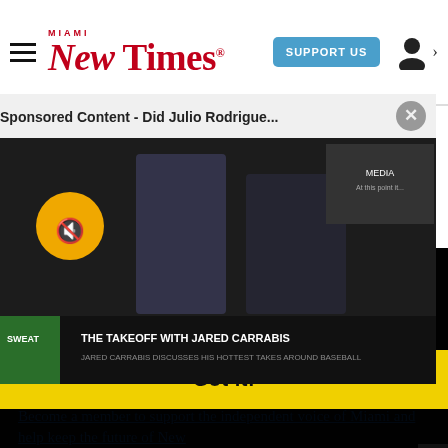Miami New Times — SUPPORT US
culinary all-stars. These people forged our city's food scene into what it is today -- a thriving amalgam of taste and culture. Through their insight and talent,
We use cookies to collect and analyze information on site performance and usage, and to enhance and customize content and advertisements. By continuing to use the site, you agree to allow cookies to be placed. To find out more, visit our cookies policy a…
[Figure (screenshot): Sponsored Content video popup showing 'Sponsored Content - Did Julio Rodrigue...' title bar with X close button, and a video thumbnail showing two men, with a muted speaker icon and a bottom bar reading 'THE TAKEOFF WITH JARED CARRABIS - JARED CARRABIS DISCUSSES HIS HOTTEST TAKES AROUND BASEBALL']
Got it!
Become a member to support the independent voice of Miami and help keep the future of Ne…